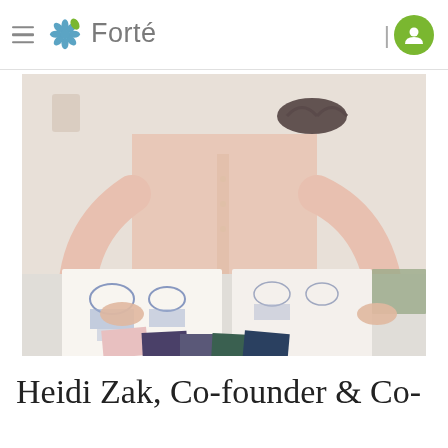Forté
[Figure (photo): A woman in a light pink blouse standing at a design table with lingerie sketches, fabric swatches in pink, navy, and purple, and photographs spread out. Bras are displayed on the wall behind her.]
Heidi Zak, Co-founder & Co-